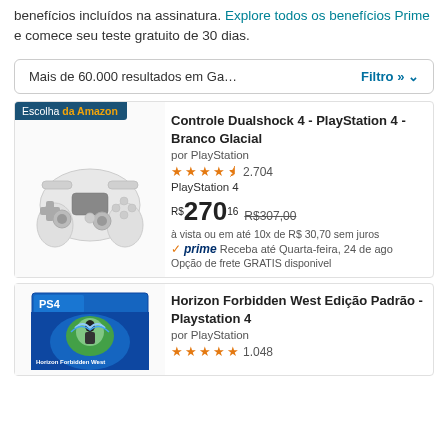benefícios incluídos na assinatura. Explore todos os benefícios Prime e comece seu teste gratuito de 30 dias.
Mais de 60.000 resultados em Ga…   Filtro »
[Figure (screenshot): Product listing card for Controle Dualshock 4 - PlayStation 4 - Branco Glacial with white controller image, 4.5 stars, 2704 reviews, price R$270,16 with old price R$307,00]
Controle Dualshock 4 - PlayStation 4 - Branco Glacial
por PlayStation
2.704
PlayStation 4
R$270 16  R$307,00
à vista ou em até 10x de R$ 30,70 sem juros
prime  Receba até Quarta-feira, 24 de ago
Opção de frete GRATIS disponivel
Horizon Forbidden West Edição Padrão - Playstation 4
por PlayStation
1.048